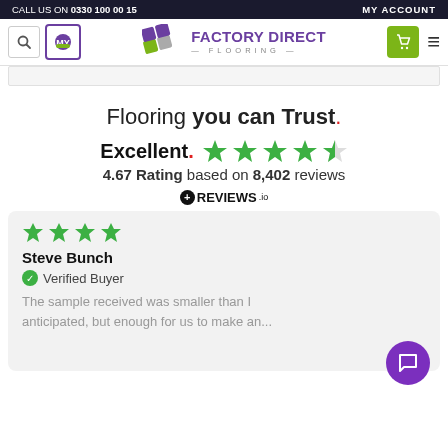CALL US ON 0330 100 00 15 | MY ACCOUNT
[Figure (logo): Factory Direct Flooring logo with coloured tile motif and navigation icons]
Flooring you can Trust.
Excellent. ★★★★½
4.67 Rating based on 8,402 reviews
[Figure (logo): REVIEWS.io logo]
Steve Bunch
Verified Buyer

The sample received was smaller than I anticipated, but enough for us to make an...